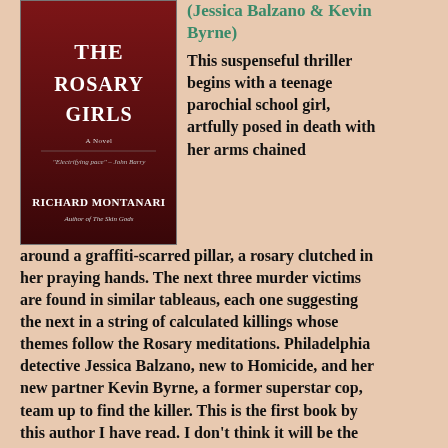[Figure (photo): Book cover of 'The Rosary Girls' by Richard Montanari, dark red/black cover with title text]
(Jessica Balzano & Kevin Byrne)
This suspenseful thriller begins with a teenage parochial school girl, artfully posed in death with her arms chained around a graffiti-scarred pillar, a rosary clutched in her praying hands. The next three murder victims are found in similar tableaus, each one suggesting the next in a string of calculated killings whose themes follow the Rosary meditations. Philadelphia detective Jessica Balzano, new to Homicide, and her new partner Kevin Byrne, a former superstar cop, team up to find the killer. This is the first book by this author I have read. I don't think it will be the last. (****)
[Figure (photo): Book cover of 'Baby Teeth: A Novel' by Zoje Stage, white cover with red splatter and bold BABY text]
Zoje Stage: Baby Teeth: A Novel
Afflicted with a chronic